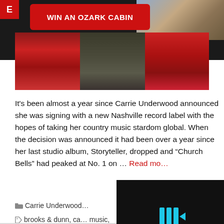[Figure (photo): Banner advertisement 'WIN AN OZARK CABIN' in white text on red rounded rectangle button, set against dark background with cabin photo on the right]
[Figure (photo): Fashion photo strip showing three panels: red beaded/studded clothing on left, dark floral/camo clothing in center, red garment on right]
It's been almost a year since Carrie Underwood announced she was signing with a new Nashville record label with the hopes of taking her country music stardom global. When the decision was announced it had been over a year since her last studio album, Storyteller, dropped and “Church Bells” had peaked at No. 1 on … Read mo…
[Figure (screenshot): Video player overlay with blue play icons and mute button on dark background, partially overlapping text]
Carrie Underwood
brooks & dunn, ca… music, covers, dolly p…